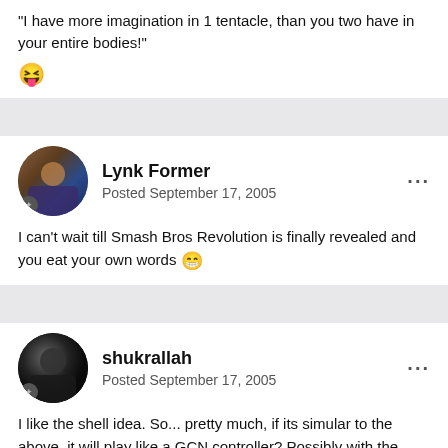"I have more imagination in 1 tentacle, than you two have in your entire bodies!"
[Figure (illustration): Laughing/grinning smiley face emoji]
Lynk Former
Posted September 17, 2005
I can't wait till Smash Bros Revolution is finally revealed and you eat your own words 😀
shukrallah
Posted September 17, 2005
I like the shell idea. So... pretty much, if its simular to the above, it will play like a GCN controller? Possibly with the tilting and stuff too?